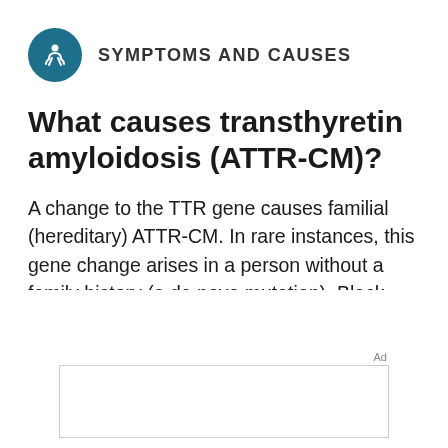SYMPTOMS AND CAUSES
What causes transthyretin amyloidosis (ATTR-CM)?
A change to the TTR gene causes familial (hereditary) ATTR-CM. In rare instances, this gene change arises in a person without a family history (a de novo mutation). Black people who were assigned male at birth are more likely to develop familial ATTR-CM.
Ad